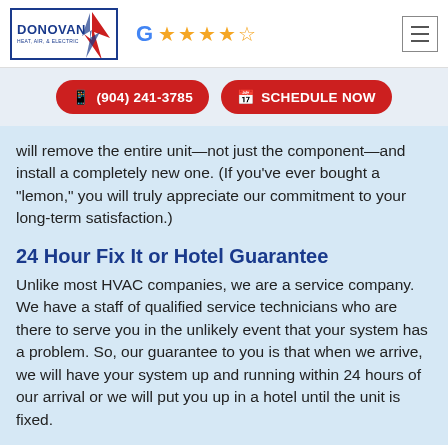Donovan Heat, Air & Electric | Google rating 4.5 stars
(904) 241-3785 | SCHEDULE NOW
will remove the entire unit—not just the component—and install a completely new one. (If you've ever bought a "lemon," you will truly appreciate our commitment to your long-term satisfaction.)
24 Hour Fix It or Hotel Guarantee
Unlike most HVAC companies, we are a service company. We have a staff of qualified service technicians who are there to serve you in the unlikely event that your system has a problem. So, our guarantee to you is that when we arrive, we will have your system up and running within 24 hours of our arrival or we will put you up in a hotel until the unit is fixed.